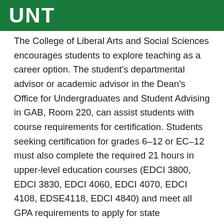UNT
The College of Liberal Arts and Social Sciences encourages students to explore teaching as a career option. The student's departmental advisor or academic advisor in the Dean's Office for Undergraduates and Student Advising in GAB, Room 220, can assist students with course requirements for certification. Students seeking certification for grades 6–12 or EC–12 must also complete the required 21 hours in upper-level education courses (EDCI 3800, EDCI 3830, EDCI 4060, EDCI 4070, EDCI 4108, EDSE4118, EDCI 4840) and meet all GPA requirements to apply for state certification. In order to enroll in the first required education courses, the student must make application to the certification program in the College of Education in Matthews Hall, Room 105. All state certification requirements and information are given at registration